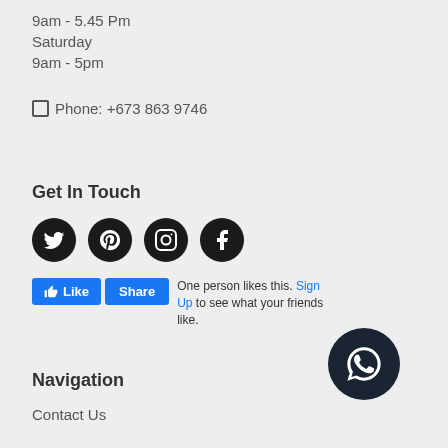9am - 5.45 Pm
Saturday
9am - 5pm
☐ Phone: +673 863 9746
Get In Touch
[Figure (infographic): Four social media icons: Twitter, Pinterest, Instagram, Facebook — circular black buttons with white logos]
[Figure (infographic): Facebook Like and Share buttons with text: One person likes this. Sign Up to see what your friends like.]
Navigation
Contact Us
[Figure (infographic): WhatsApp icon in a dark circular button, bottom right corner]